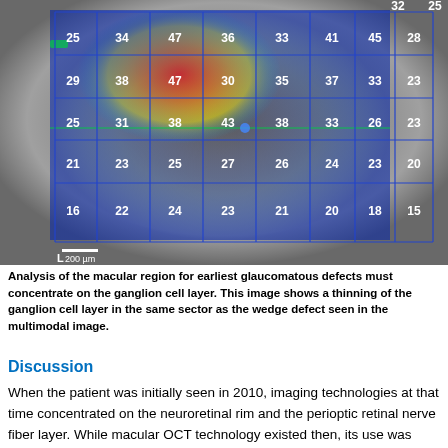[Figure (other): OCT macular thickness map of the ganglion cell layer with a blue grid overlay showing numerical thickness values in microns across sectors. The heatmap ranges from blue/green (thinner) at the periphery to yellow/red (thicker) at the center-superior region. A scale bar of 200 µm is shown in the lower left. Values shown: Row 1 (partial): ..., 34, 47, 36, 33, 41, 45, 28 (with 32, 25 at top right edge); Row 2: 25, 34, 47, 36, 33, 41, 45, 28; Row 3: 29, 38, 47, 30, 35, 37, 33, 23; Row 4: 25, 31, 38, 43, 38, 33, 26, 23; Row 5: 21, 23, 25, 27, 26, 24, 23, 20; Row 6: 16, 22, 24, 23, 21, 20, 18, 15]
Analysis of the macular region for earliest glaucomatous defects must concentrate on the ganglion cell layer. This image shows a thinning of the ganglion cell layer in the same sector as the wedge defect seen in the multimodal image.
Discussion
When the patient was initially seen in 2010, imaging technologies at that time concentrated on the neuroretinal rim and the perioptic retinal nerve fiber layer. While macular OCT technology existed then, its use was primarily for macular disease. Given that approximately